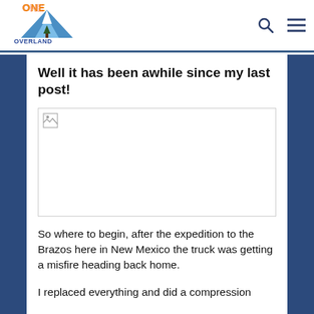ONE OVERLAND — oneoverland.com
Well it has been awhile since my last post!
[Figure (photo): Broken/missing image placeholder with small image icon in top-left corner]
So where to begin, after the expedition to the Brazos here in New Mexico the truck was getting a misfire heading back home.
I replaced everything and did a compression